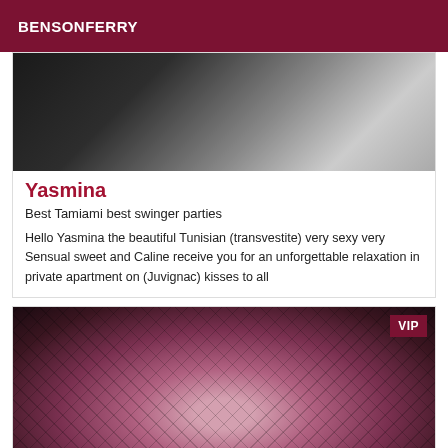BENSONFERRY
[Figure (photo): Dark photo showing a diagonal surface, appears to be interior shot]
Yasmina
Best Tamiami best swinger parties
Hello Yasmina the beautiful Tunisian (transvestite) very sexy very Sensual sweet and Caline receive you for an unforgettable relaxation in private apartment on (Juvignac) kisses to all
[Figure (photo): Photo with VIP badge, shows figure in fishnet stockings on pink/purple background]